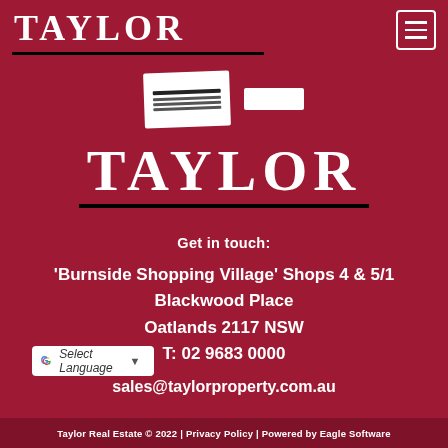TAYLOR
[Figure (photo): Taylor Real Estate for sale sign card and a white rectangle, shown over a dark red background]
TAYLOR
Get in touch:
'Burnside Shopping Village' Shops 4 & 5/1 Blackwood Place Oatlands 2117 NSW T: 02 9683 0000
sales@taylorproperty.com.au
[Figure (other): Google Translate Select Language widget button with dropdown arrow]
Taylor Real Estate © 2022 | Privacy Policy | Powered by Eagle Software